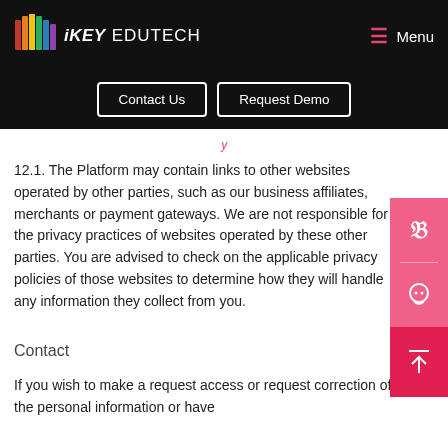iKEY EDUTECH | Menu
[Figure (screenshot): Navigation buttons: Contact Us and Request Demo]
12.1. The Platform may contain links to other websites operated by other parties, such as our business affiliates, merchants or payment gateways. We are not responsible for the privacy practices of websites operated by these other parties. You are advised to check on the applicable privacy policies of those websites to determine how they will handle any information they collect from you.
Contact
If you wish to make a request access or request correction of the personal information or have